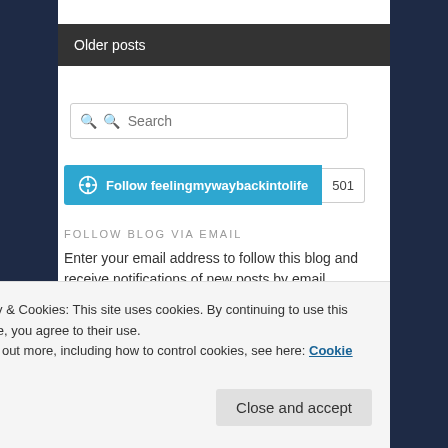Older posts
[Figure (screenshot): Search input box with magnifying glass icon and placeholder text 'Search']
[Figure (screenshot): Follow button for 'feelingmywaybackintolife' with follower count 501]
FOLLOW BLOG VIA EMAIL
Enter your email address to follow this blog and receive notifications of new posts by email.
Privacy & Cookies: This site uses cookies. By continuing to use this website, you agree to their use.
To find out more, including how to control cookies, see here: Cookie Policy
Close and accept
Back